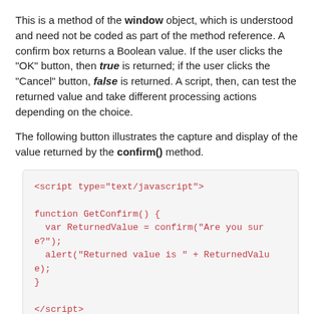This is a method of the window object, which is understood and need not be coded as part of the method reference. A confirm box returns a Boolean value. If the user clicks the "OK" button, then true is returned; if the user clicks the "Cancel" button, false is returned. A script, then, can test the returned value and take different processing actions depending on the choice.
The following button illustrates the capture and display of the value returned by the confirm() method.
[Figure (screenshot): Code block showing a JavaScript script with function GetConfirm() using confirm() and alert(), followed by an input button element.]